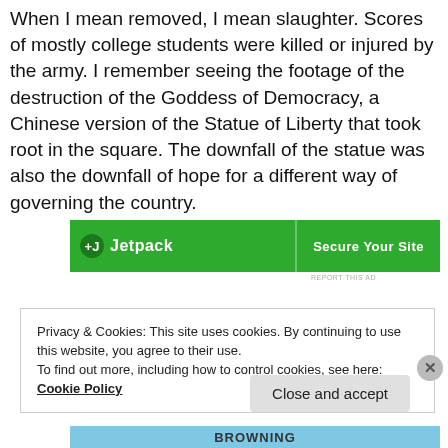When I mean removed, I mean slaughter. Scores of mostly college students were killed or injured by the army. I remember seeing the footage of the destruction of the Goddess of Democracy, a Chinese version of the Statue of Liberty that took root in the square. The downfall of the statue was also the downfall of hope for a different way of governing the country.
[Figure (other): Jetpack advertisement banner with green background showing logo and 'Secure Your Site' call to action]
Privacy & Cookies: This site uses cookies. By continuing to use this website, you agree to their use.
To find out more, including how to control cookies, see here: Cookie Policy
[Figure (other): Bottom advertisement banner with blue/teal background showing partial text 'BROWNING']